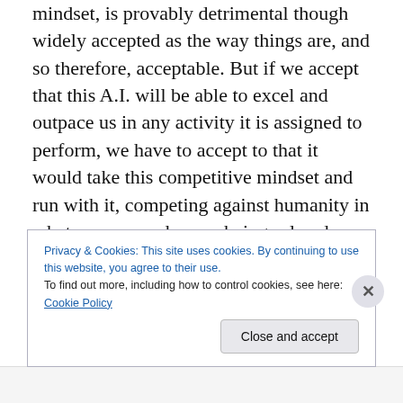mindset, is provably detrimental though widely accepted as the way things are, and so therefore, acceptable. But if we accept that this A.I. will be able to excel and outpace us in any activity it is assigned to perform, we have to accept to that it would take this competitive mindset and run with it, competing against humanity in whatever arenas human beings already compete with each other but doing it better and shutting them both down: war, business, sports, games, art…sexually gratifying human partners. If our ethos is to only vaunt and value the best, we will be in for a rude awakening (or impoverishment or
Privacy & Cookies: This site uses cookies. By continuing to use this website, you agree to their use.
To find out more, including how to control cookies, see here: Cookie Policy